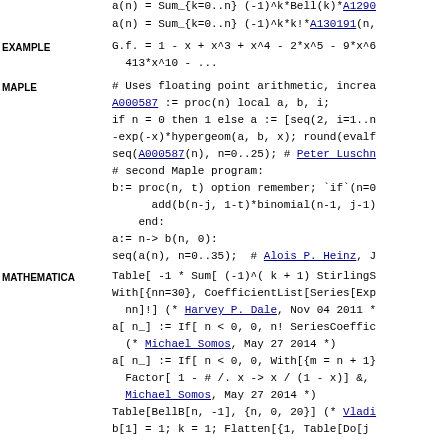a(n) = Sum_{k=0..n} (-1)^k*Bell(k)*A129... a(n) = Sum_{k=0..n} (-1)^k*k!*A130191(n,...
EXAMPLE  G.f. = 1 - x + x^3 + x^4 - 2*x^5 - 9*x^6... 413*x^10 - ...
MAPLE  # Uses floating point arithmetic, increa... A000587 := proc(n) local a, b, i; if n = 0 then 1 else a := [seq(2, i=1..n... -exp(-x)*hypergeom(a, b, x); round(evalf... seq(A000587(n), n=0..25); # Peter Luschn... # second Maple program: b:= proc(n, t) option remember; `if`(n=0... add(b(n-j, 1-t)*binomial(n-1, j-1)... end: a:= n-> b(n, 0): seq(a(n), n=0..35); # Alois P. Heinz, J
MATHEMATICA  Table[ -1 * Sum[ (-1)^( k + 1) StirlingS... With[{nn=30}, CoefficientList[Series[Exp... nn]!] (* Harvey P. Dale, Nov 04 2011 *... a[ n_] := If[ n < 0, 0, n! SeriesCoeffic... (* Michael Somos, May 27 2014 *) a[ n_] := If[ n < 0, 0, With[{m = n + 1}... Factor[ 1 - # /. x -> x / (1 - x)] &,... Michael Somos, May 27 2014 *) Table[BellB[n, -1], {n, 0, 20}] (* Vladi... b[1] = 1; k = 1; Flatten[{1, Table[Do[j... n-1]}; b[n] = k; k*(-1)^n, {n, 1, 40}]... *)
PROG  (Sage) expnums(26, -1) # Zerinvary Lajos... (PARI) [a(n) = if( n<0, 0, n! * polcoeff...